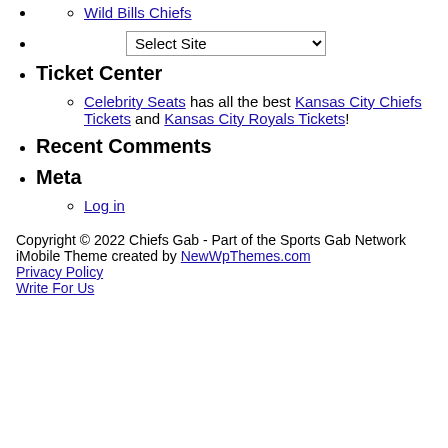Wild Bills Chiefs
(empty bullet)
Select Site (dropdown)
Ticket Center
Celebrity Seats has all the best Kansas City Chiefs Tickets and Kansas City Royals Tickets!
Recent Comments
Meta
Log in
Copyright © 2022 Chiefs Gab - Part of the Sports Gab Network
iMobile Theme created by NewWpThemes.com
Privacy Policy
Write For Us